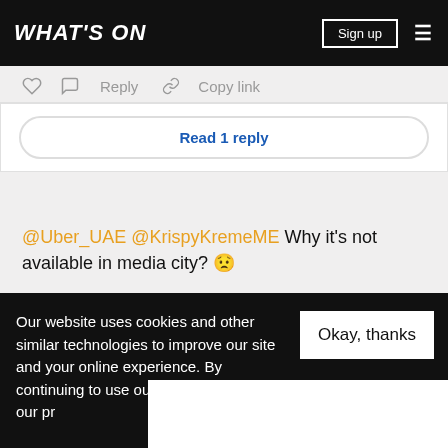WHAT'S ON | Sign up
Reply   Copy link
Read 1 reply
@Uber_UAE @KrispyKremeME Why it's not available in media city? ☹
— Eds Louisse (@RunDPress) May 4, 2017
Our website uses cookies and other similar technologies to improve our site and your online experience. By continuing to use our website you consen... our pr...